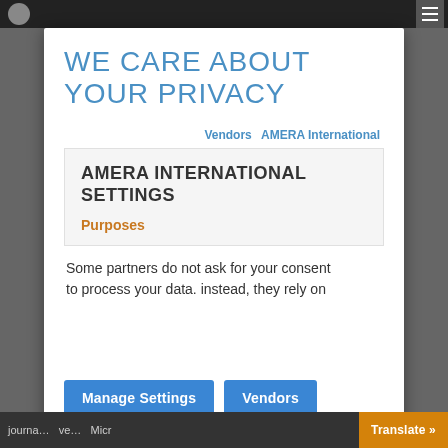WE CARE ABOUT YOUR PRIVACY
Vendors  AMERA International
AMERA INTERNATIONAL SETTINGS
Purposes
Some partners do not ask for your consent to process your data. instead, they rely on
Manage Settings   Vendors
journa...  ve...  Micro  Translate »